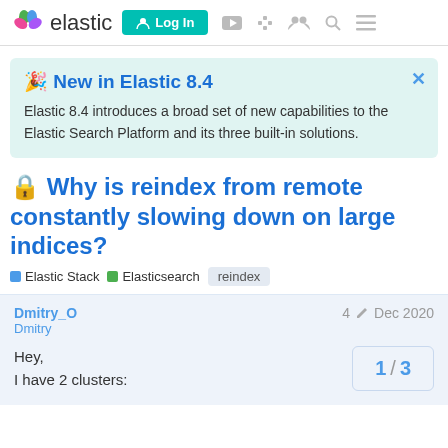elastic | Log In
🎉 New in Elastic 8.4
Elastic 8.4 introduces a broad set of new capabilities to the Elastic Search Platform and its three built-in solutions.
🔒 Why is reindex from remote constantly slowing down on large indices?
Elastic Stack  Elasticsearch  reindex
Dmitry_O
Dmitry
4 edits  Dec 2020
Hey,
I have 2 clusters:
1 / 3